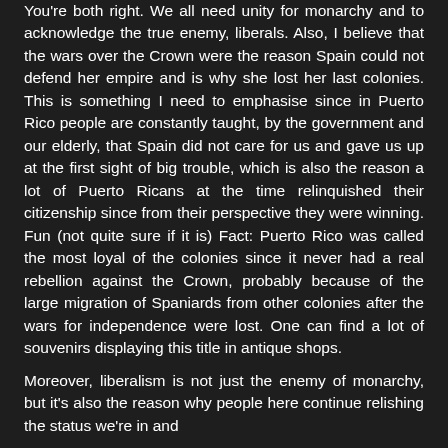You're both right. We all need unity for monarchy and to acknowledge the true enemy, liberals. Also, I believe that the wars over the Crown were the reason Spain could not defend her empire and is why she lost her last colonies. This is something I need to emphasise since in Puerto Rico people are constantly taught, by the government and our elderly, that Spain did not care for us and gave us up at the first sight of big trouble, which is also the reason a lot of Puerto Ricans at the time relinquished their citizenship since from their perspective they were winning. Fun (not quite sure if it is) Fact: Puerto Rico was called the most loyal of the colonies since it never had a real rebellion against the Crown, probably because of the large migration of Spaniards from other colonies after the wars for independence were lost. One can find a lot of souvenirs displaying this title in antique shops.
Moreover, liberalism is not just the enemy of monarchy, but it's also the reason why people here continue relishing the status we're in and